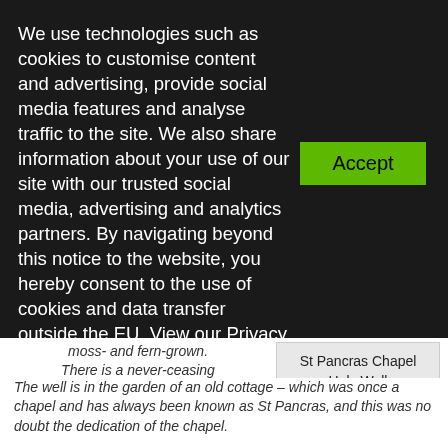We use technologies such as cookies to customise content and advertising, provide social media features and analyse traffic to the site. We also share information about your use of our site with our trusted social media, advertising and analytics partners. By navigating beyond this notice to the website, you hereby consent to the use of cookies and data transfer outside the EU. View our Privacy Policy
Accept
moss- and fern-grown. There is a never-ceasing supply of beautiful water, rising from the red sandstone.
St Pancras Chapel Holy Well
The well is in the garden of an old cottage – which was once a chapel and has always been known as St Pancras, and this was no doubt the dedication of the chapel.